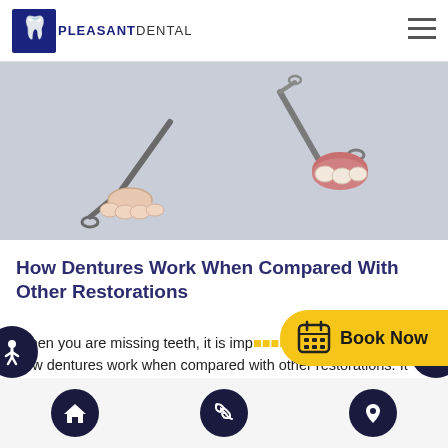[Figure (logo): Pleasant Dental logo with tooth icon and text]
[Figure (photo): Close-up photo of dental partial denture clasps with artificial teeth on white background]
How Dentures Work When Compared With Other Restorations
[Figure (other): Yellow Book Now button with calendar icon]
When you are missing teeth, it is imp... how dentures work when compared with other restorations. It can be easy to go with the first dental restoration you hear about, so you do not have to do additional research. However, when it comes to your dental health, you need to make the decision...
[Figure (other): Black circle with wheelchair accessibility icon on left side]
[Figure (other): Black circle with globe icon on right side]
[Figure (other): Bottom navigation bar with home, phone, and location icons]